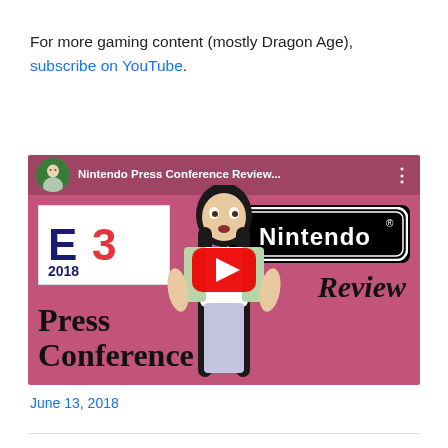For more gaming content (mostly Dragon Age), subscribe on YouTube.
[Figure (screenshot): YouTube video thumbnail for 'Nintendo Press Conference Review...' showing a woman with pink background, E3 2018 logo, Nintendo logo, and text 'Press Conference Review'. A red YouTube play button is overlaid in the center.]
June 13, 2018